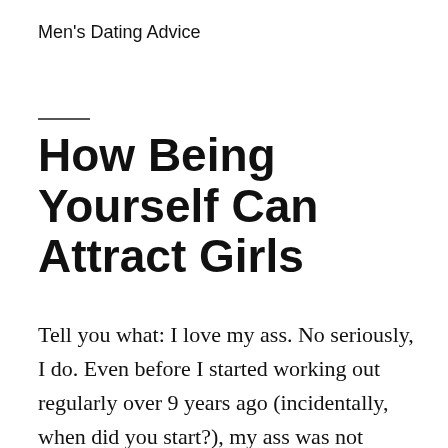Men's Dating Advice
How Being Yourself Can Attract Girls
Tell you what: I love my ass. No seriously, I do. Even before I started working out regularly over 9 years ago (incidentally, when did you start?), my ass was not cracking hot